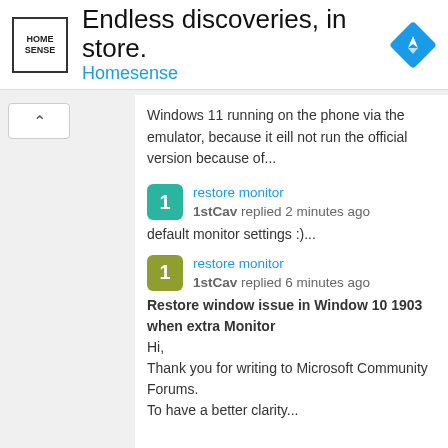[Figure (screenshot): Advertisement banner for Homesense with logo, headline 'Endless discoveries, in store.', brand name 'Homesense', and a blue diamond navigation icon]
Windows 11 running on the phone via the emulator, because it eill not run the official version because of...
restore monitor
1stCav replied 2 minutes ago
default monitor settings :)...
restore monitor
1stCav replied 6 minutes ago
Restore window issue in Window 10 1903 when extra Monitor
Hi,
Thank you for writing to Microsoft Community Forums.
To have a better clarity...